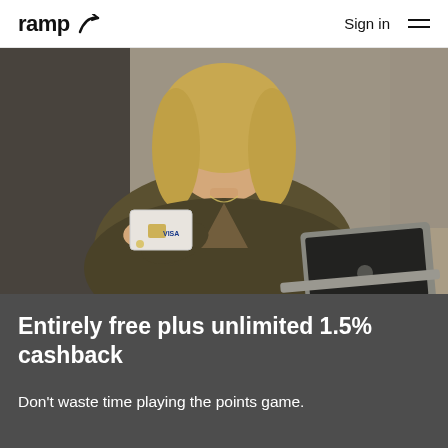ramp  Sign in
[Figure (photo): Woman with blonde hair wearing an olive green wrap blouse, holding a white credit card toward the camera with her right hand, with an open MacBook laptop visible on the desk beside her. Office/cafe background.]
Entirely free plus unlimited 1.5% cashback
Don't waste time playing the points game.